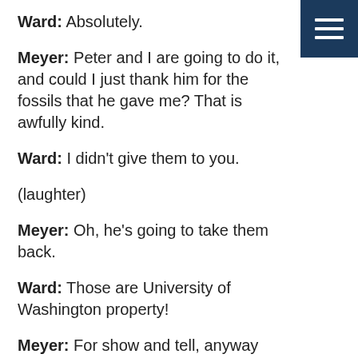Ward: Absolutely.
[Figure (other): Dark blue hamburger menu button in top-right corner with three white horizontal lines]
Meyer: Peter and I are going to do it, and could I just thank him for the fossils that he gave me? That is awfully kind.
Ward: I didn't give them to you.
(laughter)
Meyer: Oh, he's going to take them back.
Ward: Those are University of Washington property!
Meyer: For show and tell, anyway